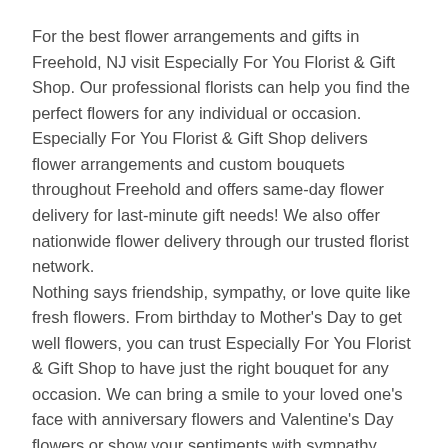For the best flower arrangements and gifts in Freehold, NJ visit Especially For You Florist & Gift Shop. Our professional florists can help you find the perfect flowers for any individual or occasion. Especially For You Florist & Gift Shop delivers flower arrangements and custom bouquets throughout Freehold and offers same-day flower delivery for last-minute gift needs! We also offer nationwide flower delivery through our trusted florist network.
Nothing says friendship, sympathy, or love quite like fresh flowers. From birthday to Mother's Day to get well flowers, you can trust Especially For You Florist & Gift Shop to have just the right bouquet for any occasion. We can bring a smile to your loved one's face with anniversary flowers and Valentine's Day flowers or show your sentiments with sympathy funeral flowers. We have great floral gifts in Freehold NJ that fit any occasion, style and budget, so arrangements from Especially For You Florist & Gift Shop are guaranteed to brighten someone's day!
You never have to worry when ordering fresh flowers from Especially For You Florist & Gift Shop in Freehold. O...